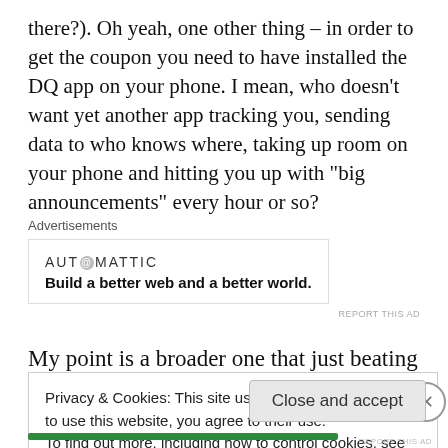there?). Oh yeah, one other thing – in order to get the coupon you need to have installed the DQ app on your phone. I mean, who doesn't want yet another app tracking you, sending data to who knows where, taking up room on your phone and hitting you up with "big announcements" every hour or so?
[Figure (other): Automattic advertisement: 'Build a better web and a better world.' with Automattic logo and 'REPORT THIS AD' link.]
My point is a broader one that just beating up on Dairy
Privacy & Cookies: This site uses cookies. By continuing to use this website, you agree to their use.
To find out more, including how to control cookies, see here: Cookie Policy
Close and accept